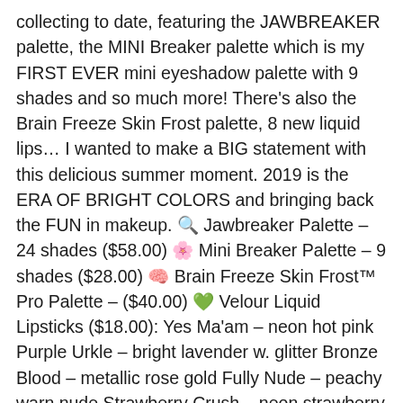collecting to date, featuring the JAWBREAKER palette, the MINI Breaker palette which is my FIRST EVER mini eyeshadow palette with 9 shades and so much more! There's also the Brain Freeze Skin Frost palette, 8 new liquid lips… I wanted to make a BIG statement with this delicious summer moment. 2019 is the ERA OF BRIGHT COLORS and bringing back the FUN in makeup. 🔍 Jawbreaker Palette – 24 shades ($58.00) 🌸 Mini Breaker Palette – 9 shades ($28.00) 🧠 Brain Freeze Skin Frost™ Pro Palette – ($40.00) 💚 Velour Liquid Lipsticks ($18.00): Yes Ma'am – neon hot pink Purple Urkle – bright lavender w. glitter Bronze Blood – metallic rose gold Fully Nude – peachy warn nude Strawberry Crush – neon strawberry red No Offense – acid chartreuse 💚 Lip Ammunition™ ($18.00): Jawbreaker Glazed Snowcone Yummy Candy Freeze Brown Sugar 🍋 Velour Lip Scrubs ($12.00): Lemon Sucker Pineapple Juice Cucumber Mint ❄️ Supreme Frost™ ($32.00): Diamond Wet Candy Apple Drip Carmel Kiss ⭐ Accessories: Hand Mirror – Pink & White Jawbreaker, Chartreuse 5 New Makeup Bag